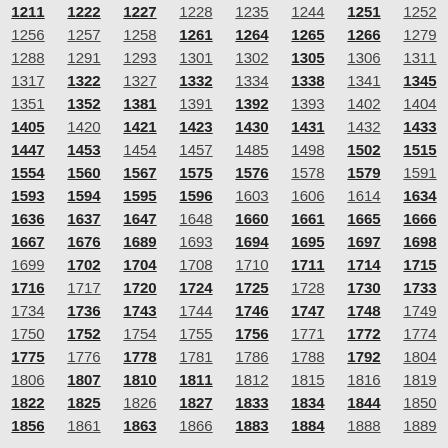| 1211 | 1222 | 1227 | 1228 | 1235 | 1244 | 1251 | 1252 |
| 1256 | 1257 | 1258 | 1261 | 1264 | 1265 | 1266 | 1279 |
| 1288 | 1291 | 1293 | 1301 | 1302 | 1305 | 1306 | 1311 |
| 1317 | 1322 | 1327 | 1332 | 1334 | 1338 | 1341 | 1345 |
| 1351 | 1352 | 1381 | 1391 | 1392 | 1393 | 1402 | 1404 |
| 1405 | 1420 | 1421 | 1423 | 1430 | 1431 | 1432 | 1433 |
| 1447 | 1453 | 1454 | 1457 | 1485 | 1498 | 1502 | 1515 |
| 1554 | 1560 | 1567 | 1575 | 1576 | 1578 | 1579 | 1591 |
| 1593 | 1594 | 1595 | 1596 | 1603 | 1606 | 1614 | 1634 |
| 1636 | 1637 | 1647 | 1648 | 1660 | 1661 | 1665 | 1666 |
| 1667 | 1676 | 1689 | 1693 | 1694 | 1695 | 1697 | 1698 |
| 1699 | 1702 | 1704 | 1708 | 1710 | 1711 | 1714 | 1715 |
| 1716 | 1717 | 1720 | 1724 | 1725 | 1728 | 1730 | 1733 |
| 1734 | 1736 | 1743 | 1744 | 1746 | 1747 | 1748 | 1749 |
| 1750 | 1752 | 1754 | 1755 | 1756 | 1771 | 1772 | 1774 |
| 1775 | 1776 | 1778 | 1781 | 1786 | 1788 | 1792 | 1804 |
| 1806 | 1807 | 1810 | 1811 | 1812 | 1815 | 1816 | 1819 |
| 1822 | 1825 | 1826 | 1827 | 1833 | 1834 | 1844 | 1850 |
| 1856 | 1861 | 1863 | 1866 | 1883 | 1884 | 1888 | 1889 |